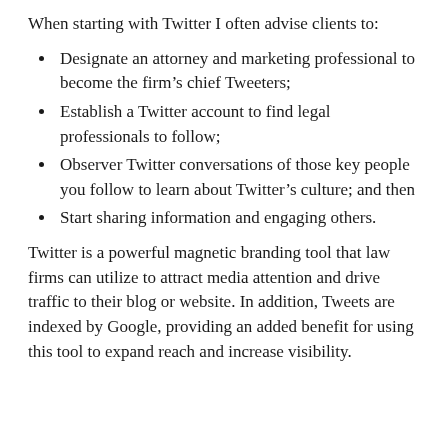When starting with Twitter I often advise clients to:
Designate an attorney and marketing professional to become the firm's chief Tweeters;
Establish a Twitter account to find legal professionals to follow;
Observer Twitter conversations of those key people you follow to learn about Twitter's culture; and then
Start sharing information and engaging others.
Twitter is a powerful magnetic branding tool that law firms can utilize to attract media attention and drive traffic to their blog or website. In addition, Tweets are indexed by Google, providing an added benefit for using this tool to expand reach and increase visibility.